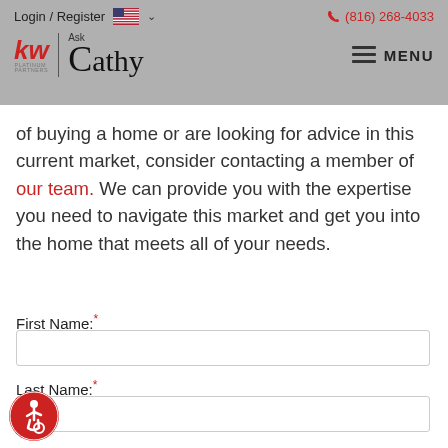Login / Register  (816) 268-4033  Ask Cathy  MENU
of buying a home or are looking for advice in this current market, consider contacting a member of our team. We can provide you with the expertise you need to navigate this market and get you into the home that meets all of your needs.
First Name:*
Last Name:*